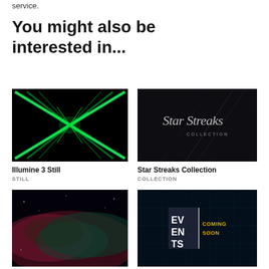service.
You might also be interested in...
[Figure (illustration): Illumine 3 Still thumbnail: green laser X pattern on black background]
Illumine 3 Still
STILL
[Figure (illustration): Star Streaks Collection thumbnail: dark background with diagonal streaks and cursive text 'Star Streaks COLLECTION']
Star Streaks Collection
COLLECTION
[Figure (illustration): Aurora background thumbnail: dark space with red and teal aurora colors]
[Figure (illustration): Events Coming Soon thumbnail: dark teal background with stacked block letters 'EV EN TS' and 'COMING SOON' text]